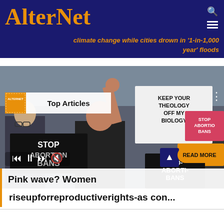AlterNet
climate change while cities drown in '1-in-1,000 year' floods
[Figure (photo): Protest scene with women holding signs reading 'STOP ABORTION BANS', 'KEEP YOUR THEOLOGY OFF MY BIOLOGY', 'KEEP ABORTION SAFE'. A woman in black raises her fist. Overlaid with Top Articles badge, media controls, READ MORE button, and article title 'Pink wave? Women riseupforreproductiverights-as con...']
Pink wave? Women riseupforreproductiverights-as con...